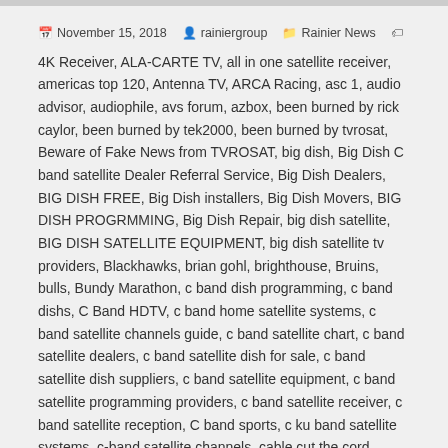📅 November 15, 2018  👤 rainiergroup  📁 Rainier News  🏷 4K Receiver, ALA-CARTE TV, all in one satellite receiver, americas top 120, Antenna TV, ARCA Racing, asc 1, audio advisor, audiophile, avs forum, azbox, been burned by rick caylor, been burned by tek2000, been burned by tvrosat, Beware of Fake News from TVROSAT, big dish, Big Dish C band satellite Dealer Referral Service, Big Dish Dealers, BIG DISH FREE, Big Dish installers, Big Dish Movers, BIG DISH PROGRMMING, Big Dish Repair, big dish satellite, BIG DISH SATELLITE EQUIPMENT, big dish satellite tv providers, Blackhawks, brian gohl, brighthouse, Bruins, bulls, Bundy Marathon, c band dish programming, c band dishs, C Band HDTV, c band home satellite systems, c band satellite channels guide, c band satellite chart, c band satellite dealers, c band satellite dish for sale, c band satellite dish suppliers, c band satellite equipment, c band satellite programming providers, c band satellite receiver, c band satellite reception, C band sports, c ku band satellite systems, c-band satellite channels, cable cut the cord, cable prices, cable tv, CANADA TV, CANADIAN NETWORKS IN THE USA, CBC, charter cable, cine sony, cinemax, cisco / rainier d9865h, CITY TV, Comcast, cord cutters, CTV, cubs, Cut The Cord, D9865 Sale, D9865D Price $499.99, Diginets, directv, dish network, e scripps, Encore D9865H, ESPN, ESPN 2, ESPN U, Fall Savings